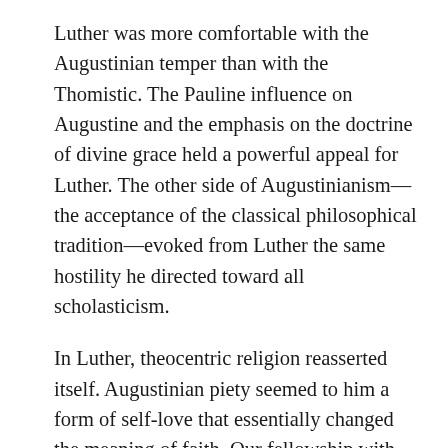Luther was more comfortable with the Augustinian temper than with the Thomistic. The Pauline influence on Augustine and the emphasis on the doctrine of divine grace held a powerful appeal for Luther. The other side of Augustinianism—the acceptance of the classical philosophical tradition—evoked from Luther the same hostility he directed toward all scholasticism.
In Luther, theocentric religion reasserted itself. Augustinian piety seemed to him a form of self-love that essentially changed the meaning of faith. Our fellowship with God, said Luther, rests not on the purification of our